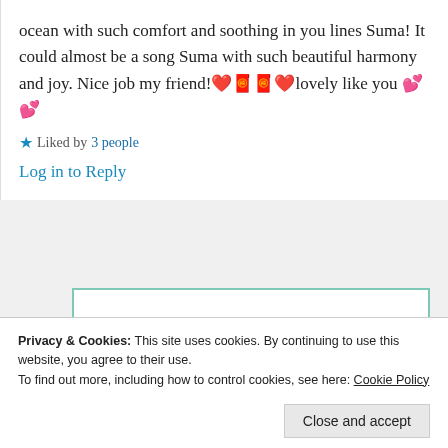ocean with such comfort and soothing in you lines Suma! It could almost be a song Suma with such beautiful harmony and joy. Nice job my friend!❤️🧧❤️lovely like you 💕 💕
★ Liked by 3 people
Log in to Reply
Suma Reddy
Privacy & Cookies: This site uses cookies. By continuing to use this website, you agree to their use. To find out more, including how to control cookies, see here: Cookie Policy
Close and accept